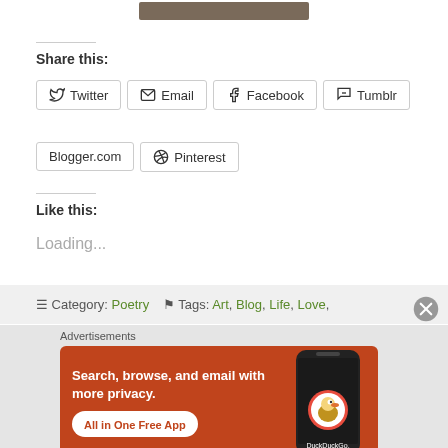[Figure (screenshot): Top partial image strip showing a brown/dark colored element]
Share this:
Twitter
Email
Facebook
Tumblr
Blogger.com
Pinterest
Like this:
Loading...
Category: Poetry   Tags: Art, Blog, Life, Love,
Advertisements
[Figure (screenshot): DuckDuckGo advertisement banner: Search, browse, and email with more privacy. All in One Free App. Shows DuckDuckGo logo on a phone on orange background.]